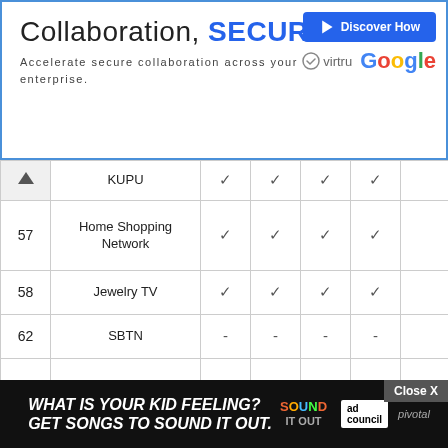[Figure (other): Advertisement banner: 'Collaboration, SECURED. Accelerate secure collaboration across your enterprise.' with Virtru and Google logos and Discover How button]
| # | Channel | Col1 | Col2 | Col3 | Col4 | Col5 |
| --- | --- | --- | --- | --- | --- | --- |
|  | KUPU | ✓ | ✓ | ✓ | ✓ |  |
| 57 | Home Shopping Network | ✓ | ✓ | ✓ | ✓ |  |
| 58 | Jewelry TV | ✓ | ✓ | ✓ | ✓ |  |
| 62 | SBTN | - | - | - | - |  |
| 66 | WE: Women's Entertainment | - | ✓ | ✓ | ✓ |  |
| 70 | Jade CCTV4 | - | - | - | - | Asian View |
| 71 | CTI Zhong Tien Channel | - | - | - | - | Asian View |
| 72 | Phoenix North |  |  |  |  | Asian View |
[Figure (other): Bottom advertisement banner: 'What is your kid feeling? Get songs to sound it out.' Sound It Out campaign with ad council and pivotal logos. Close X button visible.]